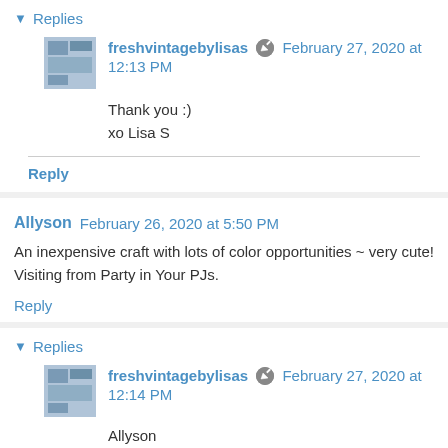▼ Replies
freshvintagebylisas [edit icon] February 27, 2020 at 12:13 PM
Thank you :)
xo Lisa S
Reply
Allyson February 26, 2020 at 5:50 PM
An inexpensive craft with lots of color opportunities ~ very cute! Visiting from Party in Your PJs.
Reply
▼ Replies
freshvintagebylisas [edit icon] February 27, 2020 at 12:14 PM
Allyson